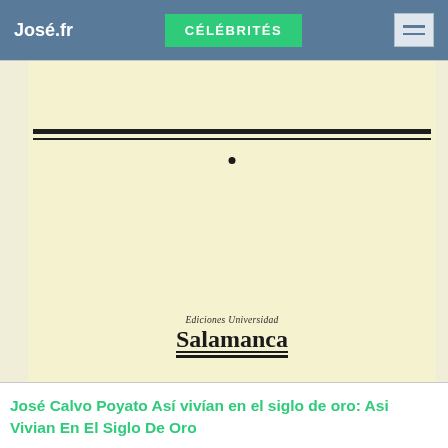José.fr | CÉLÉBRITÉS
[Figure (photo): Book cover with cream/yellow background, two horizontal black lines near the top, a small black dot below them, and the Ediciones Universidad Salamanca publisher logo with underline at the bottom center]
José Calvo Poyato Así vivían en el siglo de oro: Asi Vivian En El Siglo De Oro